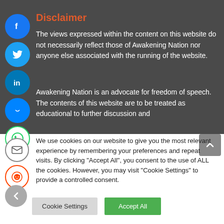Disclaimer
The views expressed within the content on this website do not necessarily reflect those of Awakening Nation nor anyone else associated with the running of the website.
Awakening Nation is an advocate for freedom of speech. The contents of this website are to be treated as educational to further discussion and
We use cookies on our website to give you the most relevant experience by remembering your preferences and repeat visits. By clicking "Accept All", you consent to the use of ALL the cookies. However, you may visit "Cookie Settings" to provide a controlled consent.
Cookie Settings   Accept All